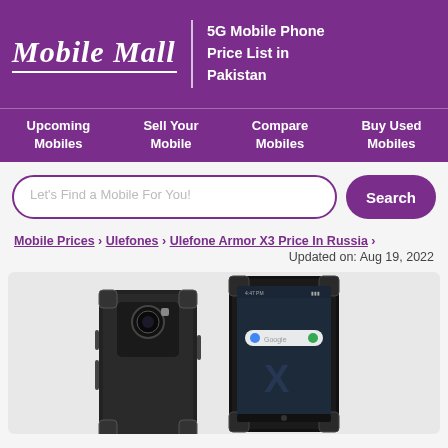Mobile Mall | 5G Mobile Phone Price List in Pakistan
Upcoming Mobiles | Sell Your Mobile | Compare Mobiles | Buy Used Mobiles
Let's Find a Mobile For You!
Mobile Prices > Ulefones > Ulefone Armor X3 Price In Russia >
Updated on: Aug 19, 2022
[Figure (photo): Ulefone Armor X3 rugged smartphone shown from front and back/side angles, black color with heavy-duty frame]